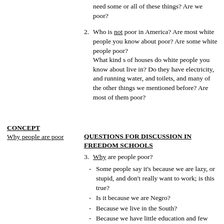need some or all of these things? Are we poor?
2. Who is not poor in America? Are most white people you know about poor? Are some white people poor? What kind s of houses do white people you know about live in? Do they have electricity, and running water, and toilets, and many of the other things we mentioned before? Are most of them poor?
CONCEPT
Why people are poor
QUESTIONS FOR DISCUSSION IN FREEDOM SCHOOLS
3. Why are people poor?
-Some people say it's because we are lazy, or stupid, and don't really want to work; is this true?
-Is it because we are Negro?
-Because we live in the South?
-Because we have little education and few skills?